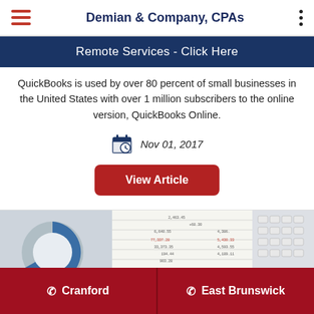Demian & Company, CPAs
Remote Services - Click Here
QuickBooks is used by over 80 percent of small businesses in the United States with over 1 million subscribers to the online version, QuickBooks Online.
Nov 01, 2017
View Article
[Figure (photo): Photo showing a keyboard and financial spreadsheet with numbers, alongside a blue donut chart graphic.]
Cranford   East Brunswick